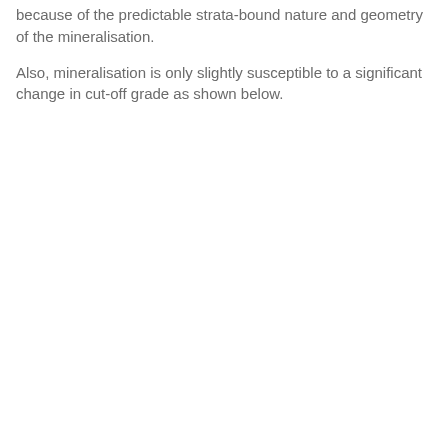because of the predictable strata-bound nature and geometry of the mineralisation.
Also, mineralisation is only slightly susceptible to a significant change in cut-off grade as shown below.